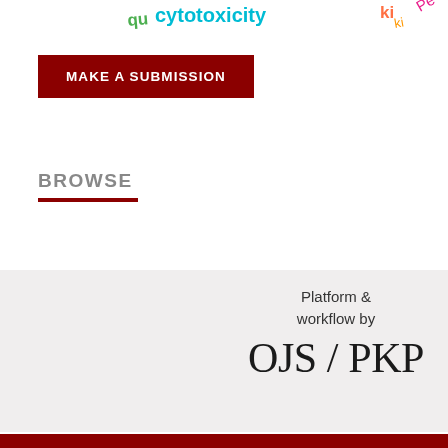[Figure (infographic): Word cloud with terms like 'cytotoxicity', 'kinase', and other partially visible scientific/keyword terms in multiple colors (green, teal, orange, pink, etc.)]
MAKE A SUBMISSION
BROWSE
Platform & workflow by OJS / PKP